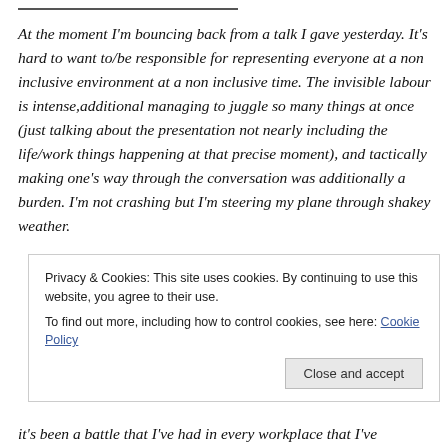At the moment I'm bouncing back from a talk I gave yesterday. It's hard to want to/be responsible for representing everyone at a non inclusive environment at a non inclusive time. The invisible labour is intense,additional managing to juggle so many things at once (just talking about the presentation not nearly including the life/work things happening at that precise moment), and tactically making one's way through the conversation was additionally a burden. I'm not crashing but I'm steering my plane through shakey weather.
Privacy & Cookies: This site uses cookies. By continuing to use this website, you agree to their use. To find out more, including how to control cookies, see here: Cookie Policy
Close and accept
it's been a battle that I've had in every workplace that I've